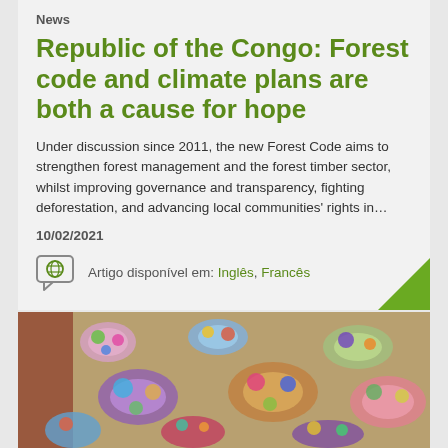News
Republic of the Congo: Forest code and climate plans are both a cause for hope
Under discussion since 2011, the new Forest Code aims to strengthen forest management and the forest timber sector, whilst improving governance and transparency, fighting deforestation, and advancing local communities' rights in…
10/02/2021
Artigo disponível em: Inglês, Francês
[Figure (photo): Colorful patterned cloth bundles/crafts arranged on a surface, viewed from above]